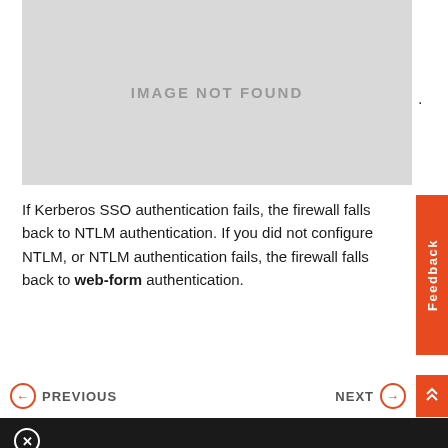[Figure (other): Image not found placeholder (gray rectangle)]
If Kerberos SSO authentication fails, the firewall falls back to NTLM authentication. If you did not configure NTLM, or NTLM authentication fails, the firewall falls back to web-form authentication.
PREVIOUS
NEXT
This site uses cookies essential to its operation, for analytics, and for personalized content and ads. By continuing to browse this site, you acknowledge the use of cookies. Privacy statement
Cookie Settings